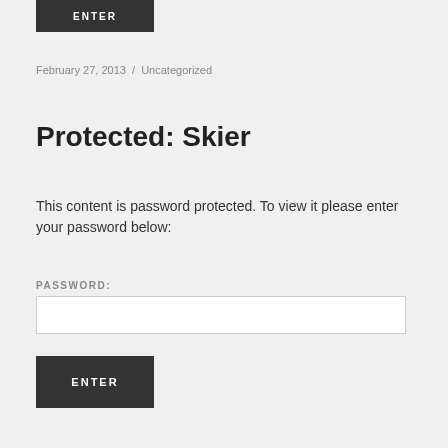ENTER
February 27, 2013 / Uncategorized
Protected: Skier
This content is password protected. To view it please enter your password below:
PASSWORD:
ENTER